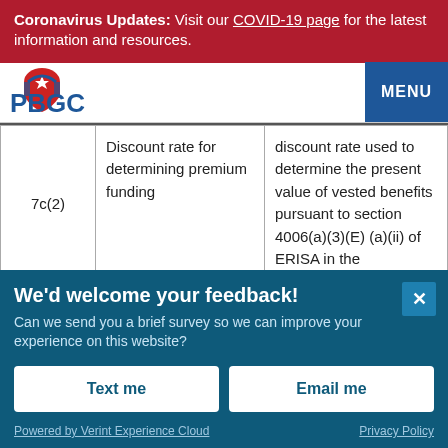Coronavirus Updates: Visit our COVID-19 page for the latest information and resources.
[Figure (logo): PBGC logo with shield icon and blue text]
| 7c(2) | Discount rate for determining premium funding | discount rate used to determine the present value of vested benefits pursuant to section 4006(a)(3)(E) (a)(ii) of ERISA in the... |
We'd welcome your feedback!
Can we send you a brief survey so we can improve your experience on this website?
Text me
Email me
Powered by Verint Experience Cloud    Privacy Policy